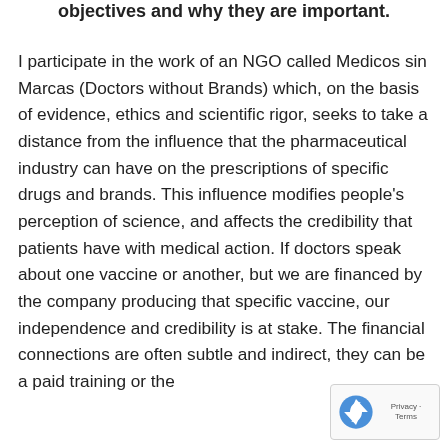objectives and why they are important.
I participate in the work of an NGO called Medicos sin Marcas (Doctors without Brands) which, on the basis of evidence, ethics and scientific rigor, seeks to take a distance from the influence that the pharmaceutical industry can have on the prescriptions of specific drugs and brands. This influence modifies people's perception of science, and affects the credibility that patients have with medical action. If doctors speak about one vaccine or another, but we are financed by the company producing that specific vaccine, our independence and credibility is at stake. The financial connections are often subtle and indirect, they can be a paid training or the